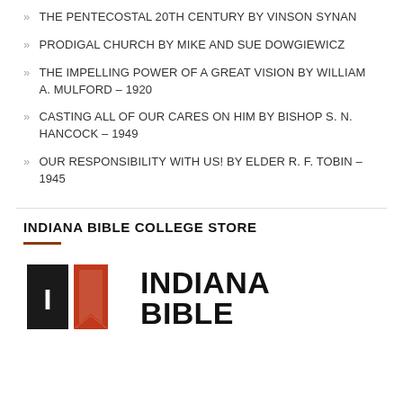THE PENTECOSTAL 20TH CENTURY BY VINSON SYNAN
PRODIGAL CHURCH BY MIKE AND SUE DOWGIEWICZ
THE IMPELLING POWER OF A GREAT VISION BY WILLIAM A. MULFORD – 1920
CASTING ALL OF OUR CARES ON HIM BY BISHOP S. N. HANCOCK – 1949
OUR RESPONSIBILITY WITH US! BY ELDER R. F. TOBIN – 1945
INDIANA BIBLE COLLEGE STORE
[Figure (logo): Indiana Bible College logo with stylized IBC lettermark in black and red on the left, and the text INDIANA BIBLE in large bold black letters on the right]